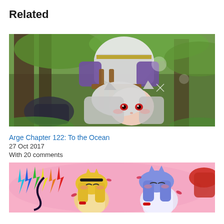Related
[Figure (illustration): Anime illustration showing a character with white/silver hair and red eyes lying down, with another armored character above, in a forest setting with green trees.]
Arge Chapter 122: To the Ocean
27 Oct 2017
With 20 comments
[Figure (illustration): Anime illustration showing multiple characters with cat ears in colorful outfits on a pink background with colorful lightning bolt shapes.]